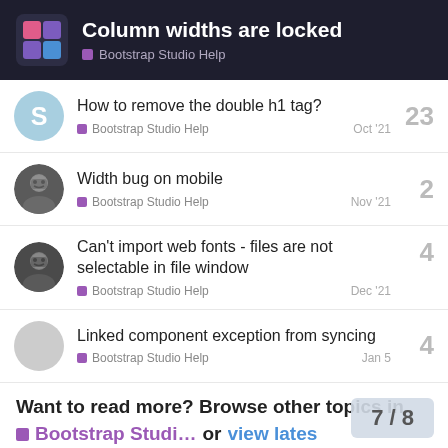Column widths are locked — Bootstrap Studio Help
How to remove the double h1 tag? — Bootstrap Studio Help — Oct '21 — 23 replies
Width bug on mobile — Bootstrap Studio Help — Nov '21 — 2 replies
Can't import web fonts - files are not selectable in file window — Bootstrap Studio Help — Dec '21 — 4 replies
Linked component exception from syncing — Bootstrap Studio Help — Jan 5 — 4 replies
Want to read more? Browse other topics in Bootstrap Studi... or view lates
7 / 8